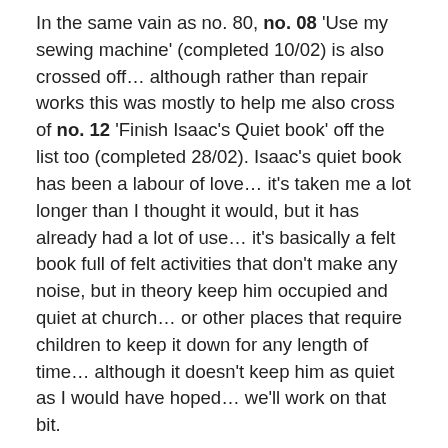In the same vain as no. 80, no. 08 'Use my sewing machine' (completed 10/02) is also crossed off… although rather than repair works this was mostly to help me also cross of no. 12 'Finish Isaac's Quiet book' off the list too (completed 28/02). Isaac's quiet book has been a labour of love… it's taken me a lot longer than I thought it would, but it has already had a lot of use… it's basically a felt book full of felt activities that don't make any noise, but in theory keep him occupied and quiet at church… or other places that require children to keep it down for any length of time… although it doesn't keep him as quiet as I would have hoped… we'll work on that bit.
Isaac started finally started his swimming lessons this year and I got my first chance to hop in the pool with him on the 21st which meant we were able to cross no. 53 off the list. In fact it's been a big month for my mum list items… we